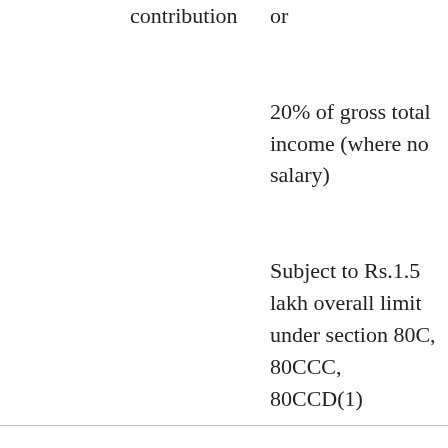|  | contribution | or

20% of gross total income (where no salary)

Subject to Rs.1.5 lakh overall limit under section 80C, 80CCC, 80CCD(1) |
| 80CCD(1B) | Employee's | Rs.50,000 |